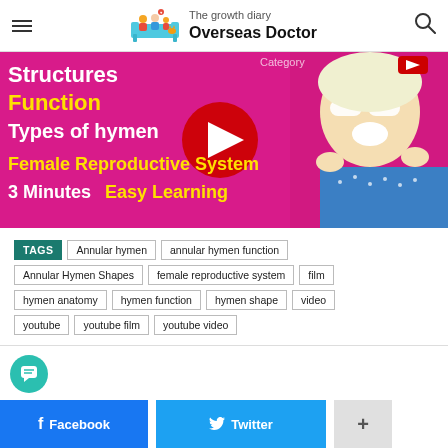The growth diary Overseas Doctor
[Figure (screenshot): YouTube video thumbnail with pink background showing text: Structures, Function (yellow), Types of hymen, Female Reproductive System (yellow), 3 Minutes Easy Learning (yellow), with a YouTube play button and a woman with white glasses making a surprised face]
TAGS: Annular hymen | annular hymen function | Annular Hymen Shapes | female reproductive system | film | hymen anatomy | hymen function | hymen shape | video | youtube | youtube film | youtube video
Facebook  Twitter  +